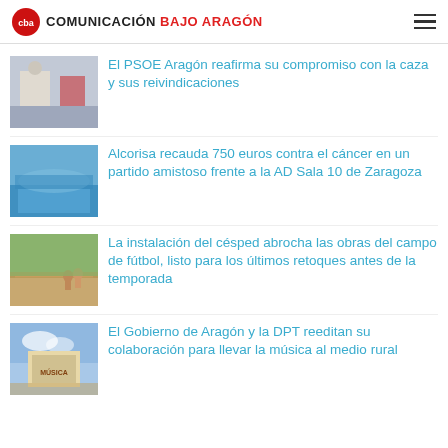COMUNICACIÓN BAJO ARAGÓN
El PSOE Aragón reafirma su compromiso con la caza y sus reivindicaciones
Alcorisa recauda 750 euros contra el cáncer en un partido amistoso frente a la AD Sala 10 de Zaragoza
La instalación del césped abrocha las obras del campo de fútbol, listo para los últimos retoques antes de la temporada
El Gobierno de Aragón y la DPT reeditan su colaboración para llevar la música al medio rural